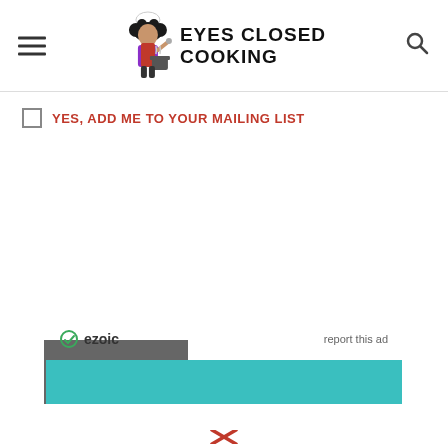[Figure (logo): Eyes Closed Cooking website logo with chef illustration and text 'EYES CLOSED COOKING']
YES, ADD ME TO YOUR MAILING LIST
POST COMMENT
[Figure (logo): Ezoic logo with circular icon and 'ezoic' text, alongside 'report this ad' link]
[Figure (other): Teal/turquoise horizontal banner advertisement]
[Figure (other): Partial social media X (Twitter) icon at bottom of page]